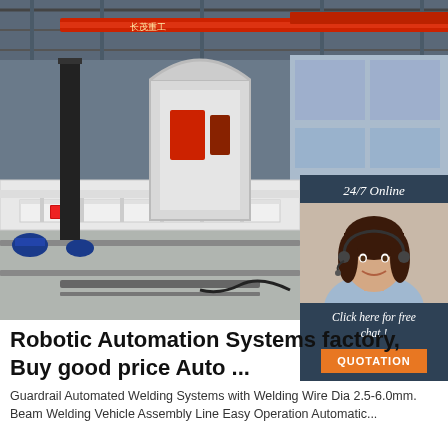[Figure (photo): Industrial factory floor showing robotic automation and welding assembly line equipment with red overhead crane beams and white conveyor/assembly structures]
[Figure (infographic): Customer service chat widget overlay: '24/7 Online' header, photo of woman with headset smiling, 'Click here for free chat!' text, and orange 'QUOTATION' button]
Robotic Automation Systems factory, Buy good price Auto ...
Guardrail Automated Welding Systems with Welding Wire Dia 2.5-6.0mm. Beam Welding Vehicle Assembly Line Easy Operation Automatic...